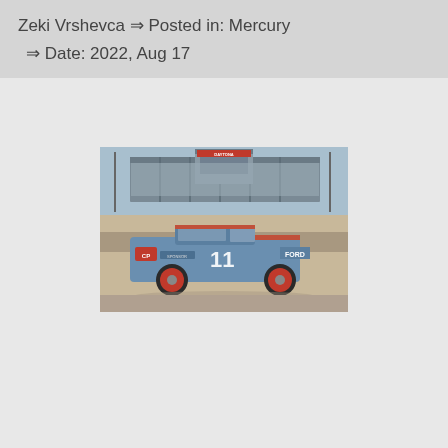Zeki Vrshevca ⇒ Posted in: Mercury ⇒ Date: 2022, Aug 17
[Figure (photo): Vintage NASCAR race car #11, a blue Mercury/Ford race car with sponsorship decals including CP and Ford logos, photographed at a racetrack with grandstands visible in the background. The car has red wheels and is on the pit road or infield area.]